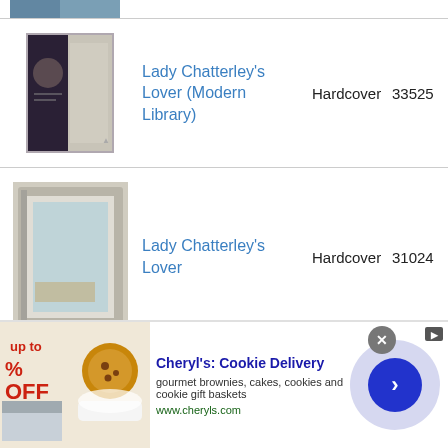[Figure (photo): Partial view of a book cover at the top of the page (cropped)]
Lady Chatterley's Lover (Modern Library) - Hardcover - 33525
Lady Chatterley's Lover - Hardcover - 31024
Lady Chatterley's Lover (The Unexpurgated Edition) - Kindle Edition - 45151
[Figure (photo): Advertisement banner: Cheryl's Cookie Delivery - gourmet brownies, cakes, cookies and cookie gift baskets - www.cheryls.com]